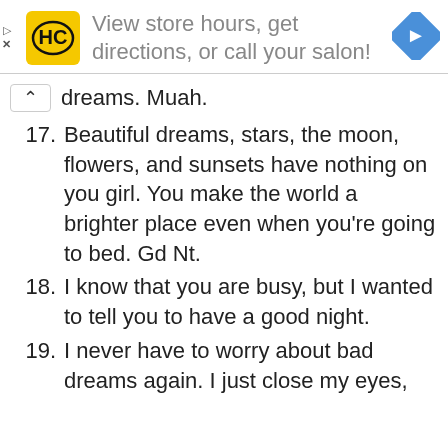[Figure (screenshot): Advertisement banner: HC logo (yellow square with black HC letters), text 'View store hours, get directions, or call your salon!', and a blue diamond navigation arrow icon on the right.]
dreams. Muah.
17. Beautiful dreams, stars, the moon, flowers, and sunsets have nothing on you girl. You make the world a brighter place even when you're going to bed. Gd Nt.
18. I know that you are busy, but I wanted to tell you to have a good night.
19. I never have to worry about bad dreams again. I just close my eyes,